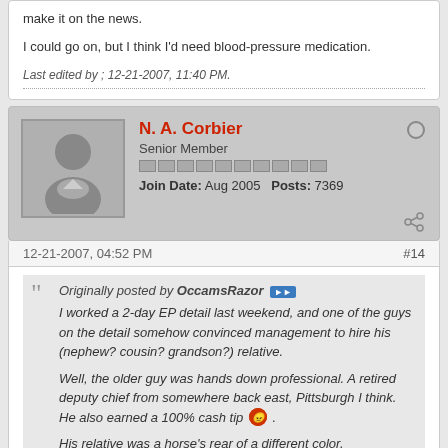make it on the news.
I could go on, but I think I'd need blood-pressure medication.
Last edited by ; 12-21-2007, 11:40 PM.
N. A. Corbier
Senior Member
Join Date: Aug 2005  Posts: 7369
12-21-2007, 04:52 PM
#14
Originally posted by OccamsRazor
I worked a 2-day EP detail last weekend, and one of the guys on the detail somehow convinced management to hire his (nephew? cousin? grandson?) relative.

Well, the older guy was hands down professional. A retired deputy chief from somewhere back east, Pittsburgh I think. He also earned a 100% cash tip.

His relative was a horse's rear of a different color.

This 25-26 year-old kid was useless. He hung out with me in the